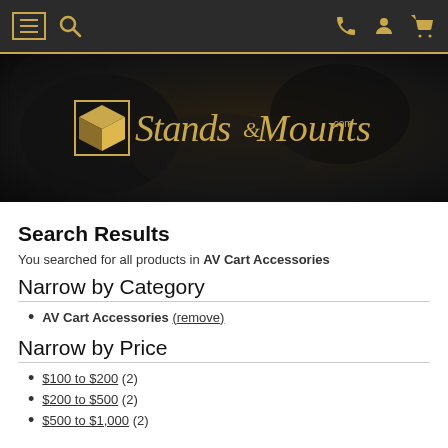Stands and Mounts navigation bar with menu, search, phone, account, and cart icons
[Figure (logo): Stands&Mounts.com logo on dark background with decorative cube icon]
Search Results
You searched for all products in AV Cart Accessories
Narrow by Category
AV Cart Accessories (remove)
Narrow by Price
$100 to $200 (2)
$200 to $500 (2)
$500 to $1,000 (2)